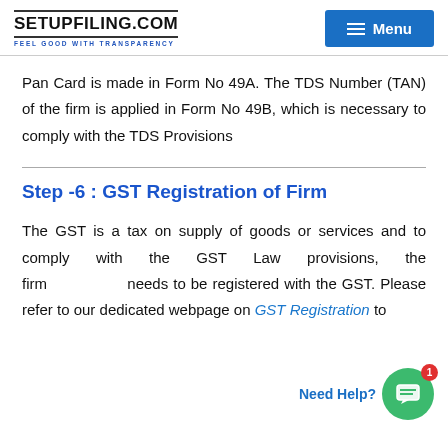SETUPFILING.COM — FEEL GOOD WITH TRANSPARENCY — Menu
Pan Card is made in Form No 49A. The TDS Number (TAN) of the firm is applied in Form No 49B, which is necessary to comply with the TDS Provisions
Step -6 : GST Registration of Firm
The GST is a tax on supply of goods or services and to comply with the GST Law provisions, the firm needs to be registered with the GST. Please refer to our dedicated webpage on GST Registration to